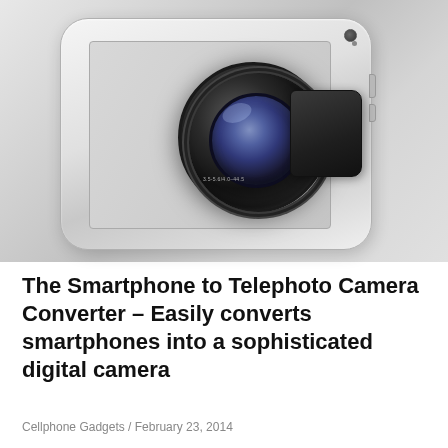[Figure (photo): A Sony QX lens-style camera module attached to the back of a silver iPhone smartphone, photographed against a white background. The camera lens is large, black and round, with a blue-tinted multi-element glass lens visible. The camera body extends to the right with HD branding.]
The Smartphone to Telephoto Camera Converter – Easily converts smartphones into a sophisticated digital camera
Cellphone Gadgets / February 23, 2014